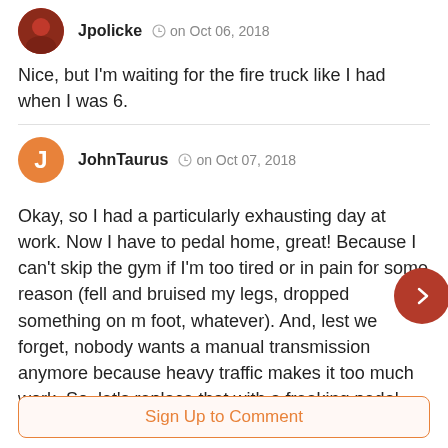Nice, but I'm waiting for the fire truck like I had when I was 6.
JohnTaurus  on Oct 07, 2018
Okay, so I had a particularly exhausting day at work. Now I have to pedal home, great! Because I can't skip the gym if I'm too tired or in pain for some reason (fell and bruised my legs, dropped something on my foot, whatever). And, lest we forget, nobody wants a manual transmission anymore because heavy traffic makes it too much work. So, let's replace that with a freaking pedal system. That's way better.
Sign Up to Comment